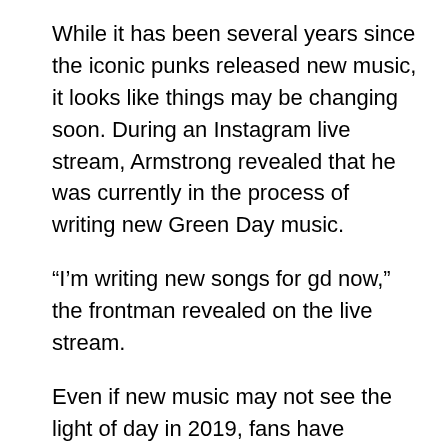While it has been several years since the iconic punks released new music, it looks like things may be changing soon. During an Instagram live stream, Armstrong revealed that he was currently in the process of writing new Green Day music.
“I’m writing new songs for gd now,” the frontman revealed on the live stream.
Even if new music may not see the light of day in 2019, fans have become suspicious that the act may have something up their sleeves. Following several posts on social media showing the band rehearsing Dookie and Insomniac in full, fans have begun speculating